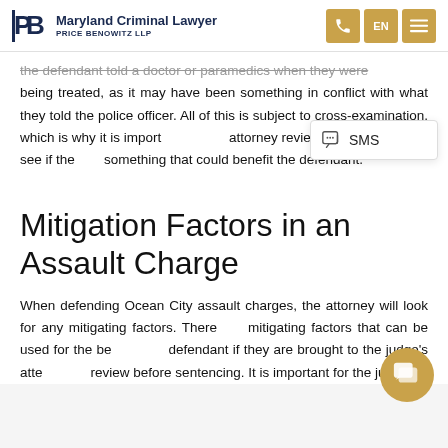Maryland Criminal Lawyer | PRICE BENOWITZ LLP
the defendant told a doctor or paramedics when they were being treated, as it may have been something in conflict with what they told the police officer. All of this is subject to cross-examination, which is why it is important that an attorney reviews these records to see if there is something that could benefit the defendant.
Mitigation Factors in an Assault Charge
When defending Ocean City assault charges, the attorney will look for any mitigating factors. There are mitigating factors that can be used for the benefit of a defendant if they are brought to the judge's attention to review before sentencing. It is important for the judge to